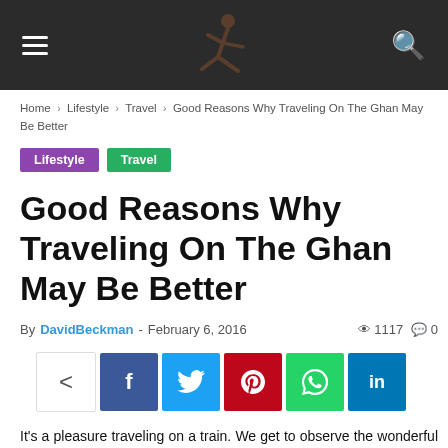≡ [logo] 🔍
Home › Lifestyle › Travel › Good Reasons Why Traveling On The Ghan May Be Better
Lifestyle   Travel
Good Reasons Why Traveling On The Ghan May Be Better
By DavidBeckman - February 6, 2016   👁 1117  💬 0
[Figure (infographic): Social share buttons: share, Facebook, Twitter, Pinterest, WhatsApp, LinkedIn]
It's a pleasure traveling on a train. We get to observe the wonderful hillsides, open pastures, channels, and some other matters which will make our trip enjoyable. Below are a few more reasons why you might choose going on trains as an